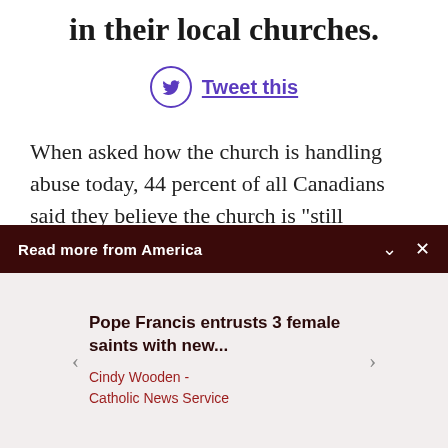in their local churches.
Tweet this
When asked how the church is handling abuse today, 44 percent of all Canadians said they believe the church is “still covering things up as
Read more from America
Pope Francis entrusts 3 female saints with new...
Cindy Wooden - Catholic News Service